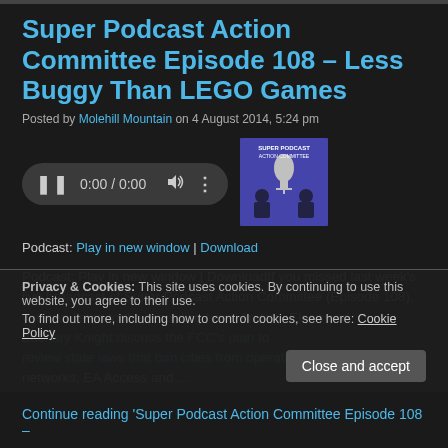Super Podcast Action Committee Episode 108 – Less Buggy Than LEGO Games
Posted by Molehill Mountain on 4 August 2014, 5:24 pm
[Figure (screenshot): Audio player with pause button, time 0:00 / 0:00, progress bar, volume icon, and more options icon]
[Figure (illustration): Super Podcast Action Committee podcast cover art showing silhouettes with a microphone]
Podcast: Play in new window | Download
Podcast: Play in new window | DownloadIf you missed last week's live broadcast of Super Podcast Action Committee (Episode 108), you can listen to the recording here. Andrew Eisen and Zachary Knight discuss the FCC's plan to review state laws that ban cities from operating broadband networks, EA Access and ...
Privacy & Cookies: This site uses cookies. By continuing to use this website, you agree to their use.
To find out more, including how to control cookies, see here: Cookie Policy
Continue reading 'Super Podcast Action Committee Episode 108 –